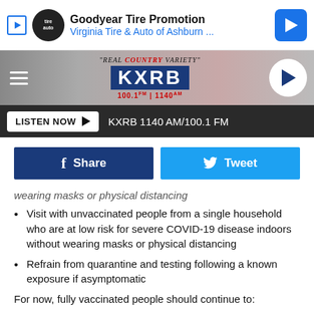[Figure (screenshot): Goodyear Tire Promotion advertisement banner for Virginia Tire & Auto of Ashburn]
[Figure (logo): KXRB 100.1 FM / 1140 AM radio station header with tagline Real Country Variety and play button]
LISTEN NOW ▶  KXRB 1140 AM/100.1 FM
Share  Tweet
wearing masks or physical distancing
Visit with unvaccinated people from a single household who are at low risk for severe COVID-19 disease indoors without wearing masks or physical distancing
Refrain from quarantine and testing following a known exposure if asymptomatic
For now, fully vaccinated people should continue to:
Take precautions in public like wearing a well-fitted mask and physical distancing